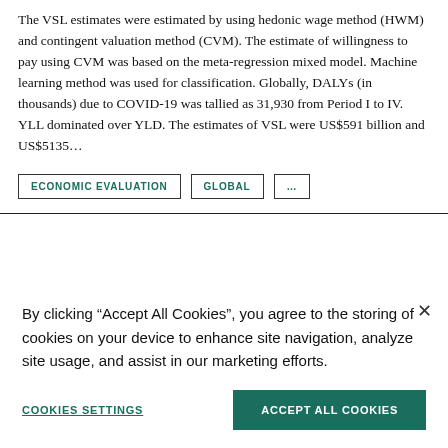The VSL estimates were estimated by using hedonic wage method (HWM) and contingent valuation method (CVM). The estimate of willingness to pay using CVM was based on the meta-regression mixed model. Machine learning method was used for classification. Globally, DALYs (in thousands) due to COVID-19 was tallied as 31,930 from Period I to IV. YLL dominated over YLD. The estimates of VSL were US$591 billion and US$5135…
ECONOMIC EVALUATION
GLOBAL
...
By clicking “Accept All Cookies”, you agree to the storing of cookies on your device to enhance site navigation, analyze site usage, and assist in our marketing efforts.
COOKIES SETTINGS
ACCEPT ALL COOKIES